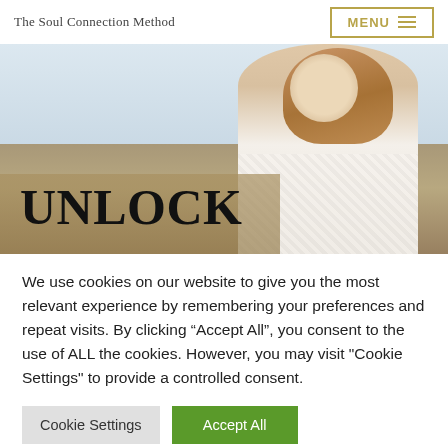The Soul Connection Method
[Figure (photo): Woman with long auburn hair wearing a white lace top standing in a field, with 'UNLOCK' text overlaid in large bold serif font on the lower left]
We use cookies on our website to give you the most relevant experience by remembering your preferences and repeat visits. By clicking “Accept All”, you consent to the use of ALL the cookies. However, you may visit "Cookie Settings" to provide a controlled consent.
Cookie Settings
Accept All